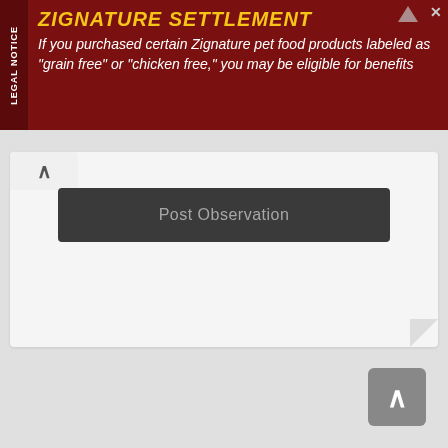[Figure (other): Legal notice advertisement banner with dark red background. Left side has vertical 'LEGAL NOTICE' label. Content reads: 'ZIGNATURE SETTLEMENT' in yellow bold italic, followed by white italic text: 'If you purchased certain Zignature pet food products labeled as "grain free" or "chicken free," you may be eligible for benefits'. Top right has a small icon and close button.]
[Figure (screenshot): A mobile app UI showing a 'Post Observation' dark button on a white card, with a folded corner design. An up-arrow caret button is at the top-left. Below the card is an empty content area and a second white card with folded corners. A scroll-to-top button (grey square with up arrow) is at the bottom right.]